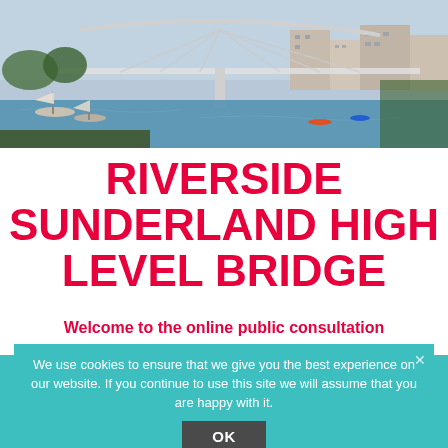[Figure (photo): Aerial/waterfront rendering of a modern high-level bridge over a river with boats, kayakers, and city buildings in the background]
RIVERSIDE SUNDERLAND HIGH LEVEL BRIDGE
Welcome to the online public consultation
for the proposed development of the High-Level Bridge, Riverside Sunderland.
We use cookies to ensure that we give you the best experience on our website. If you continue to use this site we will assume that you are happy with it.
OK
The aim of this consultation is to provide you with information on the proposals for the Wearmouth High-Level Bridge and to